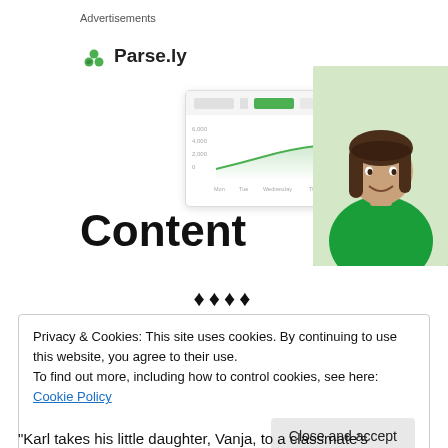Advertisements
[Figure (illustration): Parse.ly advertisement showing logo, a dashboard mockup with a line chart, and a smiling woman in a green sweater. Large bold text reads 'Content'.]
♦♦♦♦
Privacy & Cookies: This site uses cookies. By continuing to use this website, you agree to their use.
To find out more, including how to control cookies, see here: Cookie Policy
[Close and accept button]
“Karl takes his little daughter, Vanja, to a classmate’s